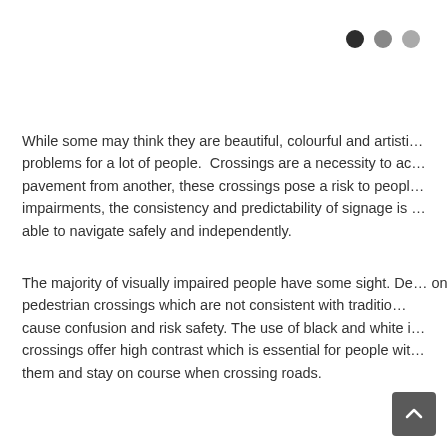[Figure (other): Three dots pagination indicator: one black filled dot and two gray dots]
While some may think they are beautiful, colourful and artisti… problems for a lot of people.  Crossings are a necessity to ac… pavement from another, these crossings pose a risk to peopl… impairments, the consistency and predictability of signage is … able to navigate safely and independently.
The majority of visually impaired people have some sight. De… on pedestrian crossings which are not consistent with traditio… cause confusion and risk safety. The use of black and white i… crossings offer high contrast which is essential for people wit… them and stay on course when crossing roads.